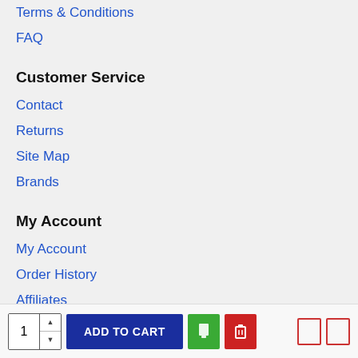Terms & Conditions
FAQ
Customer Service
Contact
Returns
Site Map
Brands
My Account
My Account
Order History
Affiliates